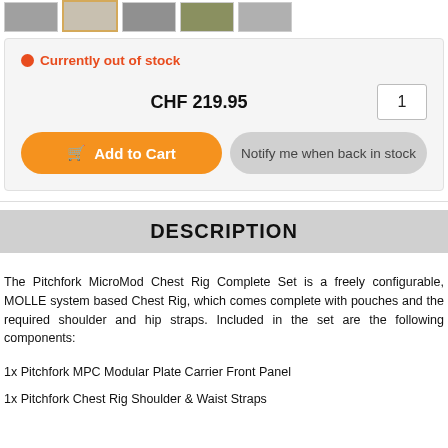[Figure (photo): Row of product thumbnail images: grey, beige/selected, dark grey, camouflage, light grey]
Currently out of stock
CHF 219.95
Add to Cart
Notify me when back in stock
DESCRIPTION
The Pitchfork MicroMod Chest Rig Complete Set is a freely configurable, MOLLE system based Chest Rig, which comes complete with pouches and the required shoulder and hip straps. Included in the set are the following components:
1x Pitchfork MPC Modular Plate Carrier Front Panel
1x Pitchfork Chest Rig Shoulder & Waist Straps